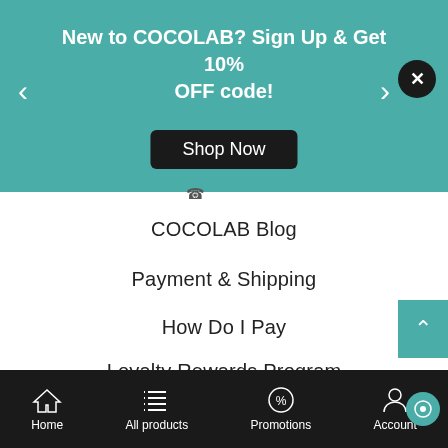New to COCOLAB? Sign Up & Get 10% OFF code! Shop Now
COCOLAB Blog
Payment & Shipping
How Do I Pay
Loyalty Rewards Program
Store Credits
FAQs
MCO Updates
Contact us
Follow Us
Home  All products  Promotions  Account